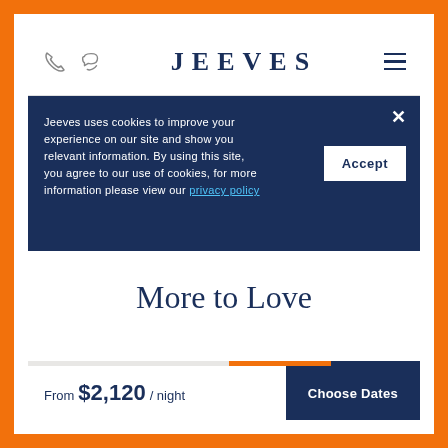JEEVES
Jeeves uses cookies to improve your experience on our site and show you relevant information. By using this site, you agree to our use of cookies, for more information please view our privacy policy
More to Love
Special Offer
Elite Home
From $2,120 / night
Choose Dates